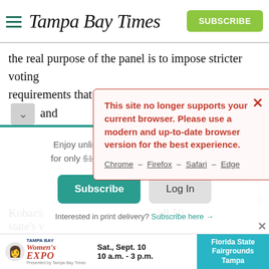Tampa Bay Times — SUBSCRIBE
the real purpose of the panel is to impose stricter voting requirements that would make it more difficult for [chevron] and
[Figure (screenshot): Browser compatibility warning modal with red border and background, showing text: 'This site no longer supports your current browser. Please use a modern and up-to-date browser version for the best experience.' with links: Chrome – Firefox – Safari – Edge, and a red X close button]
Enjoy unlimited access to tampabay.com for only $11.75 $0.99 for the first month.
Subscribe  Log In
Interested in print delivery? Subscribe here →
Kobach  all 50 state's
[Figure (screenshot): Tampa Bay Women's Expo advertisement: Sat., Sept. 10, 10 a.m. - 3 p.m., Florida State Fairgrounds Tampa]